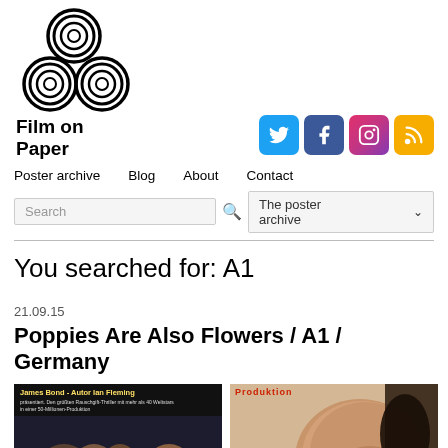[Figure (logo): Film on Paper logo with concentric circle motifs arranged in a triangular pattern (one on top, two below)]
Film on
Paper
[Figure (infographic): Social media icons: Twitter (blue), Facebook (blue), Instagram (pink/red), RSS (yellow/orange)]
Poster archive   Blog   About   Contact
Search   The poster archive
You searched for: A1
21.09.15
Poppies Are Also Flowers / A1 / Germany
[Figure (photo): Two partial movie poster thumbnails for Poppies Are Also Flowers. Left shows dark-toned poster with text 'James Bond-Autor Ian Fleming präsentiert. Den größten Rauschgift-Thriller mit mehr als 40 Weltstars in einer 50-Millionen-Produktion' and figures of men. Right shows close-up of a bald head.]